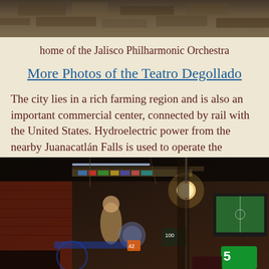[Figure (photo): Top portion of a stone/concrete ceiling or wall texture, partial view at top of page]
home of the Jalisco Philharmonic Orchestra
More Photos of the Teatro Degollado
The city lies in a rich farming region and is also an important commercial center, connected by rail with the United States. Hydroelectric power from the nearby Juanacatlán Falls is used to operate the factories of the city.
[Figure (photo): Interior of a busy market stall or store, showing shelves of goods, a person, a weighing scale, hanging lights, and a television showing a football match, with price signs visible]